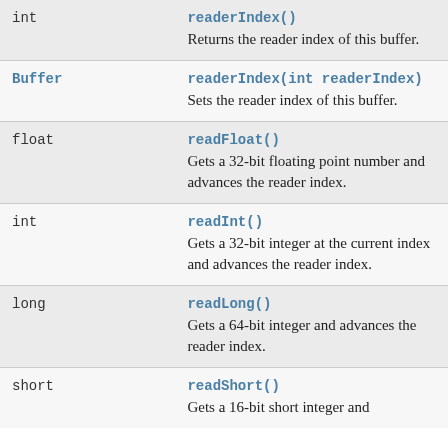| Type | Method & Description |
| --- | --- |
| int | readerIndex()
Returns the reader index of this buffer. |
| Buffer | readerIndex(int readerIndex)
Sets the reader index of this buffer. |
| float | readFloat()
Gets a 32-bit floating point number and advances the reader index. |
| int | readInt()
Gets a 32-bit integer at the current index and advances the reader index. |
| long | readLong()
Gets a 64-bit integer and advances the reader index. |
| short | readShort()
Gets a 16-bit short integer and |